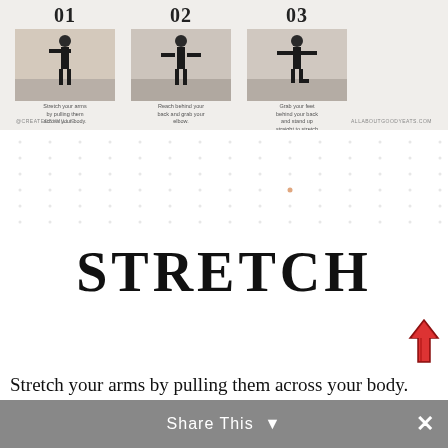[Figure (illustration): Top strip showing three exercise step cards with step numbers 01, 02, 03, silhouette photos of a person stretching, brief descriptions, and footer credits @CREATEDBYMILLIE and ALLABOUTGOODYEATS.COM]
[Figure (illustration): Decorative dot pattern on white background]
STRETCH
[Figure (illustration): Red upward-pointing arrow icon]
Stretch your arms by pulling them across your body.
Share This  ×
Reach behind your back and grab your elbow.